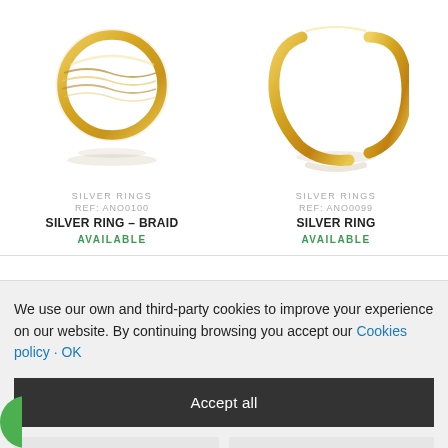[Figure (photo): Gold braided/twisted ring product photo on white background with shadow reflection]
SILVER RINGS
REF: ANO0100
SILVER RING – BRAID
AVAILABLE
[Figure (photo): Gold open ring with letter C or G shape product photo on white background with shadow reflection]
SILVER RINGS
REF: ANO0099
SILVER RING
AVAILABLE
We use our own and third-party cookies to improve your experience on our website. By continuing browsing you accept our Cookies policy · OK
Accept all
Accept strictly necessary
Change my preferences